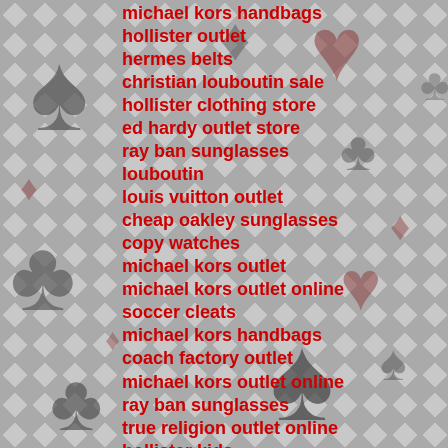michael kors handbags
hollister outlet
hermes belts
christian louboutin sale
hollister clothing store
ed hardy outlet store
ray ban sunglasses
louboutin
louis vuitton outlet
cheap oakley sunglasses
copy watches
michael kors outlet
michael kors outlet online
soccer cleats
michael kors handbags
coach factory outlet
michael kors outlet online
ray ban sunglasses
true religion outlet online
hollister kids
longchamp sale
michael kors handbags
timberland canada